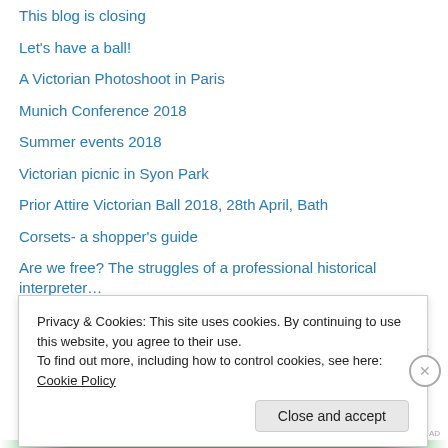This blog is closing
Let's have a ball!
A Victorian Photoshoot in Paris
Munich Conference 2018
Summer events 2018
Victorian picnic in Syon Park
Prior Attire Victorian Ball 2018, 28th April, Bath
Corsets- a shopper's guide
Are we free? The struggles of a professional historical interpreter…
Prior Attire Victorian Ball, Bath 06/05/2017
Categories
Privacy & Cookies: This site uses cookies. By continuing to use this website, you agree to their use.
To find out more, including how to control cookies, see here: Cookie Policy